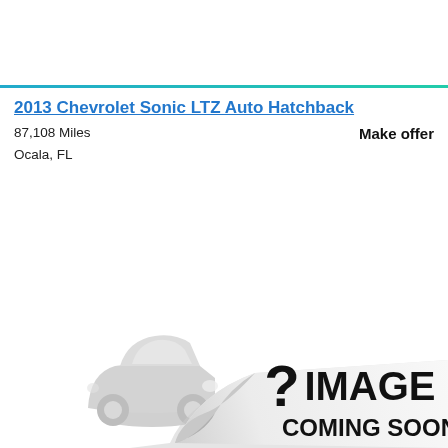2013 Chevrolet Sonic LTZ Auto Hatchback
87,108 Miles
Ocala, FL
Make offer
[Figure (illustration): Image coming soon placeholder with a peeling page effect showing a car silhouette on the left and bold text '? IMAGE COMING SOON' on a white curled page graphic]